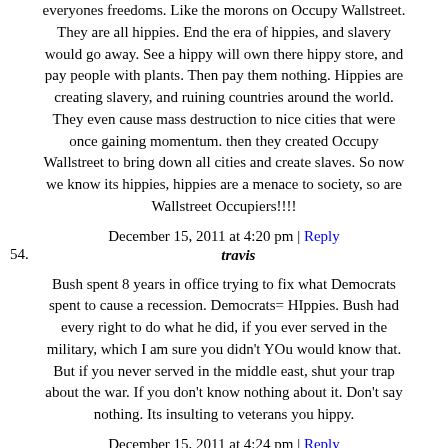everyones freedoms. Like the morons on Occupy Wallstreet. They are all hippies. End the era of hippies, and slavery would go away. See a hippy will own there hippy store, and pay people with plants. Then pay them nothing. Hippies are creating slavery, and ruining countries around the world. They even cause mass destruction to nice cities that were once gaining momentum. then they created Occupy Wallstreet to bring down all cities and create slaves. So now we know its hippies, hippies are a menace to society, so are Wallstreet Occupiers!!!!
December 15, 2011 at 4:20 pm | Reply
54. travis
Bush spent 8 years in office trying to fix what Democrats spent to cause a recession. Democrats= HIppies. Bush had every right to do what he did, if you ever served in the military, which I am sure you didn't YOu would know that. But if you never served in the middle east, shut your trap about the war. If you don't know nothing about it. Don't say nothing. Its insulting to veterans you hippy.
December 15, 2011 at 4:24 pm | Reply
55. bcinwi
i could have thought of 11.5 million better things to invest